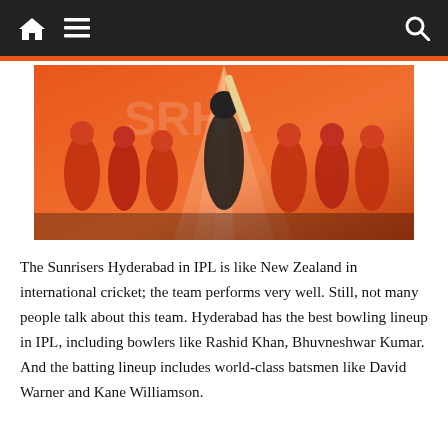Navigation bar with home, menu, and search icons
[Figure (photo): Sunrisers Hyderabad IPL team promotional poster with players in orange and black jerseys on an orange background with cricket bat beams of light]
The Sunrisers Hyderabad in IPL is like New Zealand in international cricket; the team performs very well. Still, not many people talk about this team. Hyderabad has the best bowling lineup in IPL, including bowlers like Rashid Khan, Bhuvneshwar Kumar. And the batting lineup includes world-class batsmen like David Warner and Kane Williamson.